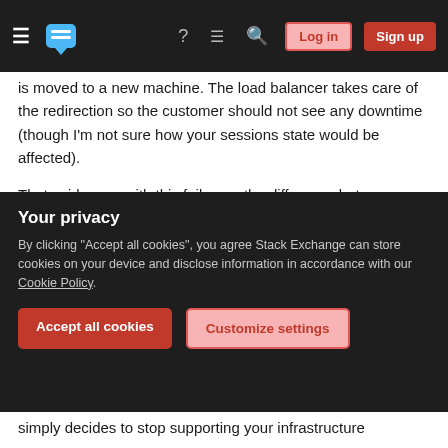Stack Exchange navigation bar with hamburger menu, logo, help, chat, search icons, Log in and Sign up buttons
is moved to a new machine. The load balancer takes care of the redirection so the customer should not see any downtime (though I'm not sure how your sessions state would be affected).
That said, even with this fail-over, the difference between 99.999 and 100 borders on insanity.
You'll have to have full control over the following factors.
- Human factors, both internal and external, both malice and impotence. An example of this is
Your privacy
By clicking "Accept all cookies", you agree Stack Exchange can store cookies on your device and disclose information in accordance with our Cookie Policy.
Accept all cookies
Customize settings
simply decides to stop supporting your infrastructure